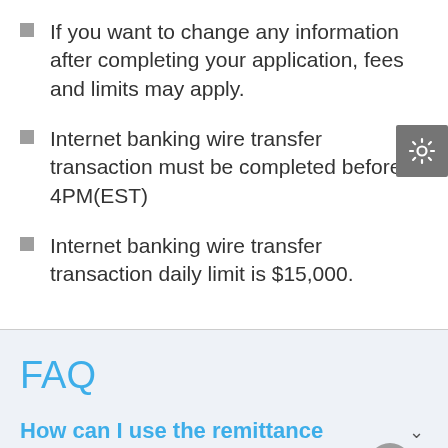If you want to change any information after completing your application, fees and limits may apply.
Internet banking wire transfer transaction must be completed before 4PM(EST)
Internet banking wire transfer transaction daily limit is $15,000.
FAQ
How can I use the remittance service?